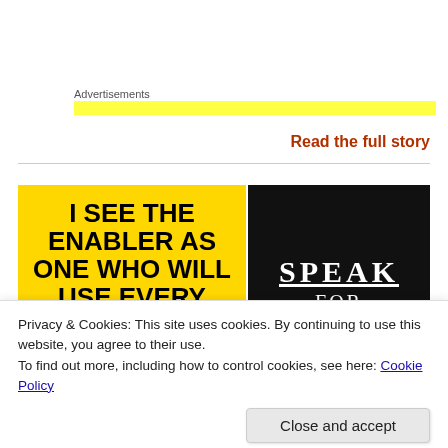Advertisements
Read the full story
[Figure (illustration): Split image: left half yellow background with bold black uppercase text 'I SEE THE ENABLER AS ONE WHO WILL USE EVERY TRICK IN THE BOOK TO'; right half black background with white serif text 'SPEAK FOR THOSE']
Privacy & Cookies: This site uses cookies. By continuing to use this website, you agree to their use.
To find out more, including how to control cookies, see here: Cookie Policy
Close and accept
Advertisements